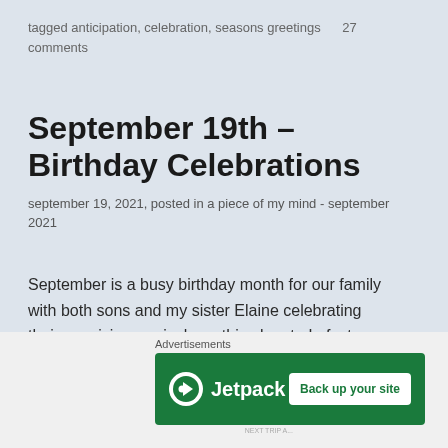tagged anticipation, celebration, seasons greetings    27 comments
September 19th – Birthday Celebrations
september 19, 2021, posted in a piece of my mind - september 2021
September is a busy birthday month for our family with both sons and my sister Elaine celebrating their auspicious arrivals on this planet.  In fact, today is Elaine's birthday so Happy Birthday!
[Figure (other): Jetpack advertisement banner with green background, Jetpack logo on the left, and 'Back up your site' button on the right]